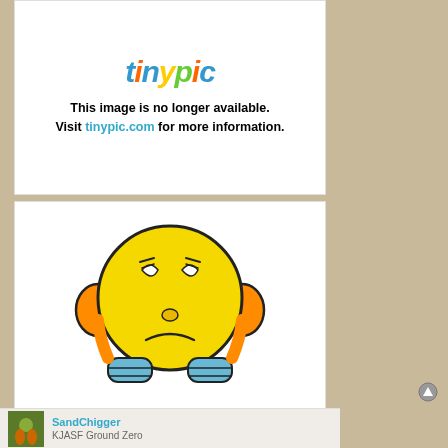[Figure (screenshot): Tinypic placeholder image (top): colorful tinypic logo text at top, bold text reading 'This image is no longer available. Visit tinypic.com for more information.']
[Figure (screenshot): Tinypic placeholder image (bottom): sad face emoji character with blue hands covering ears, tinypic logo below, bold text reading 'This image is no longer available. Visit tinypic.com for more information.']
SandChigger
KJASF Ground Zero